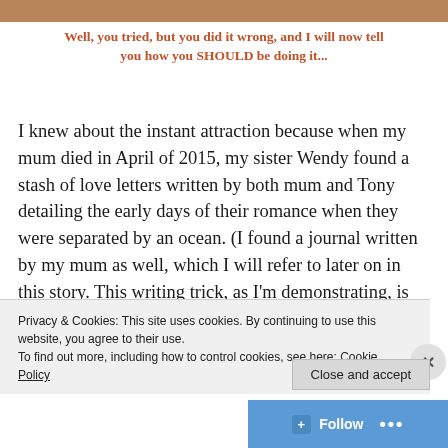[Figure (photo): Partial top edge of a photo visible at top of page]
Well, you tried, but you did it wrong, and I will now tell you how you SHOULD be doing it...
I knew about the instant attraction because when my mum died in April of 2015, my sister Wendy found a stash of love letters written by both mum and Tony detailing the early days of their romance when they were separated by an ocean. (I found a journal written by my mum as well, which I will refer to later on in this story. This writing trick, as I'm demonstrating, is called really bad foreshadowing) Wendy had started to read one of these letters when she realized what it actually
Privacy & Cookies: This site uses cookies. By continuing to use this website, you agree to their use.
To find out more, including how to control cookies, see here: Cookie Policy
Close and accept
Follow